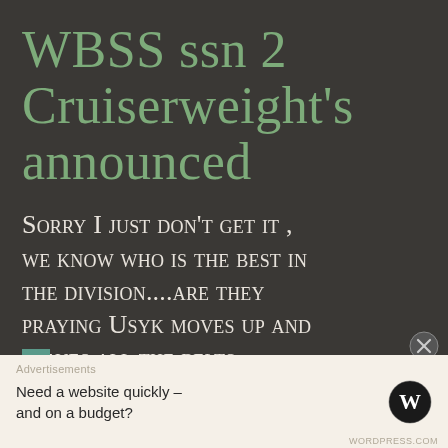WBSS ssn 2 Cruiserweight's announced
Sorry I just don't get it , we know who is the best in the division....are they praying Usyk moves up and leaves all the belts
Advertisements
Need a website quickly – and on a budget?